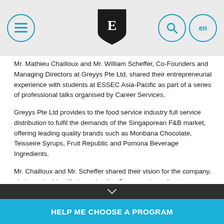[Figure (logo): ESSEC website header with hamburger menu icon on left, ESSEC shield logo in center, search icon and language selector (en) on right, on light gray background]
Mr. Mathieu Chailloux and Mr. William Scheffer, Co-Founders and Managing Directors at Greyys Pte Ltd, shared their entrepreneurial experience with students at ESSEC Asia-Pacific as part of a series of professional talks organised by Career Services.
Greyys Pte Ltd provides to the food service industry full service distribution to fulfil the demands of the Singaporean F&B market, offering leading quality brands such as Monbana Chocolate, Teisseire Syrups, Fruit Republic and Pomona Beverage Ingredients.
Mr. Chailloux and Mr. Scheffer shared their vision for the company, aiming to be identified as a leading Beverage Ingredients company – offering Innovative, Healthy & Functional Drinks in Singaporean F&B Market - with the ability to offer innovative services, such as sharing and implementing signature recipes using the wide range of products supply by Greyys. Through the introduction of such services, the company is able to provide added value on top of just supplying products to customers.
HELP ME CHOOSE A PROGRAM